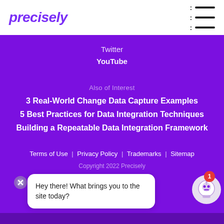precisely
Twitter
YouTube
Also of Interest
3 Real-World Change Data Capture Examples
5 Best Practices for Data Integration Techniques
Building a Repeatable Data Integration Framework
Terms of Use  |  Privacy Policy  |  Trademarks  |  Sitemap
Copyright 2022 Precisely
Hey there! What brings you to the site today?